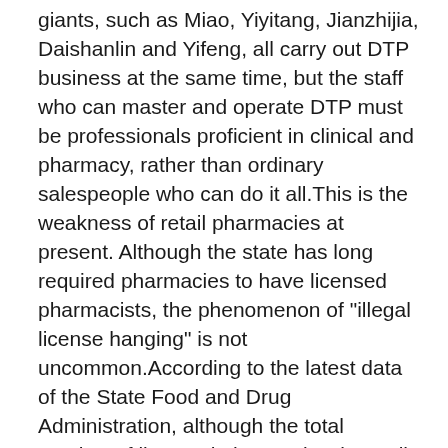giants, such as Miao, Yiyitang, Jianzhijia, Daishanlin and Yifeng, all carry out DTP business at the same time, but the staff who can master and operate DTP must be professionals proficient in clinical and pharmacy, rather than ordinary salespeople who can do it all.This is the weakness of retail pharmacies at present. Although the state has long required pharmacies to have licensed pharmacists, the phenomenon of "illegal license hanging" is not uncommon.According to the latest data of the State Food and Drug Administration, although the total number of licensed pharmacists in retail pharmacies has exceeded 584,000, according to the national requirement that each store should be equipped with two licensed pharmacists, the number of licensed pharmacists is still a big gap.What is more important is that a pharmacist s license will be able to serve patients with new specialty drugs such as PD-1 and CAR-T.Pharmacists, like physicians, are under pressure